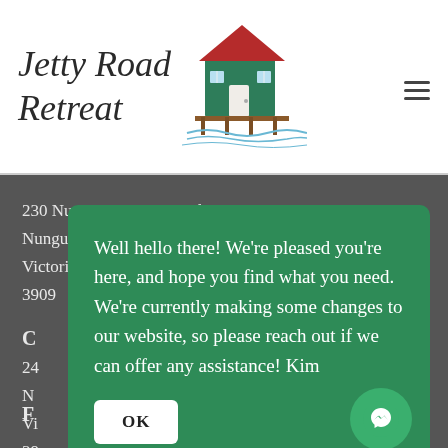[Figure (logo): Jetty Road Retreat logo with handwritten text and illustration of a green cottage with red roof near water]
230 Nungurner Jetty Road
Nungurner
Victoria
3909
C
24
N
Vi
39
Well hello there! We're pleased you're here, and hope you find what you need. We're currently making some changes to our website, so please reach out if we can offer any assistance! Kim
OK
F